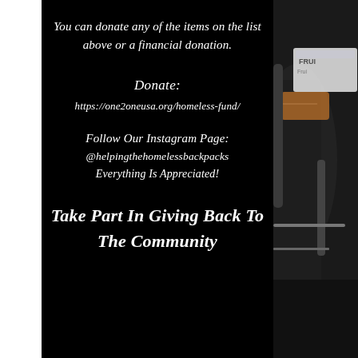You can donate any of the items on the list above or a financial donation.
Donate:
https://one2oneusa.org/homeless-fund/
Follow Our Instagram Page:
@helpingthehomelessbackpacks
Everything Is Appreciated!
Take Part In Giving Back To The Community
[Figure (photo): Photo of backpacks and packaged goods against a dark background, partially visible on the right side of the page.]